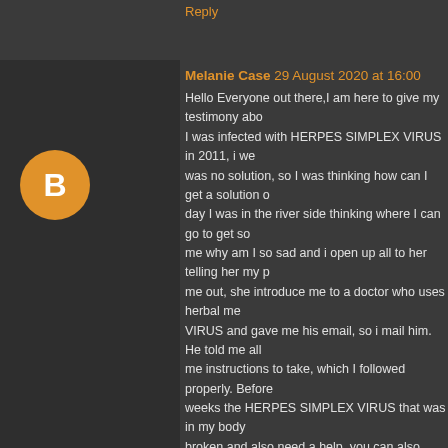Reply
Melanie Case  29 August 2020 at 16:00
Hello Everyone out there,I am here to give my testimony abo... I was infected with HERPES SIMPLEX VIRUS in 2011, i we... was no solution, so I was thinking how can I get a solution o... day I was in the river side thinking where I can go to get so... me why am I so sad and i open up all to her telling her my p... me out, she introduce me to a doctor who uses herbal me... VIRUS and gave me his email, so i mail him. He told me all... me instructions to take, which I followed properly. Before ... weeks the HERPES SIMPLEX VIRUS that was in my body ... broken and also need a help, you can also email him at {olih... or whatsapp him number: +2349038382931. or website is ht... Contact him today and you will have a testimony...Good luck
Dr. OLIHA Also Cures:
1. HIV/AIDS
2. HERPES 1/2
3. CANCER
4. ALS (Lou Gehrigâ€™s disease)
5. Hepatitis B
6. chronic pancreatic
7. Emphysema
8. COPD (Chronic Obstructive Pulmonary Disease